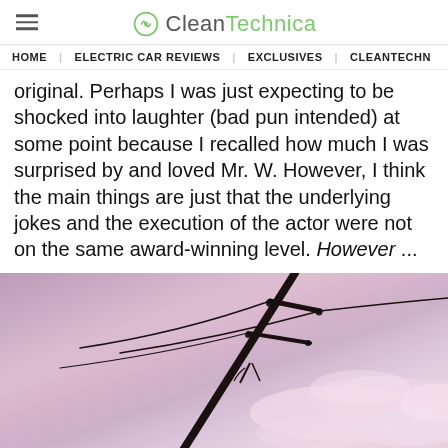CleanTechnica
HOME | ELECTRIC CAR REVIEWS | EXCLUSIVES | CLEANTECHN
original. Perhaps I was just expecting to be shocked into laughter (bad pun intended) at some point because I recalled how much I was surprised by and loved Mr. W. However, I think the main things are just that the underlying jokes and the execution of the actor were not on the same award-winning level. However ...
[Figure (photo): Power line pole silhouetted against a pastel pink and purple sunset sky with wispy clouds]